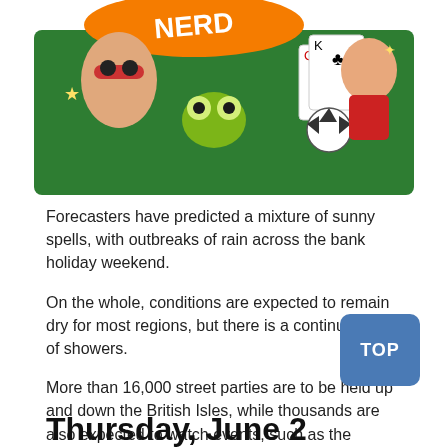[Figure (illustration): Cartoon illustration showing animated characters including a man with sunglasses, a green creature, a child with a soccer ball, and playing cards on a green background, partially cropped at the top.]
Forecasters have predicted a mixture of sunny spells, with outbreaks of rain across the bank holiday weekend.
On the whole, conditions are expected to remain dry for most regions, but there is a continued risk of showers.
More than 16,000 street parties are to be held up and down the British Isles, while thousands are also expected to watch events, such as the Platinum Party at Buckingham Palace and Trooping the Colour parade.
So, what weather can you expect across the bank holiday period, and how hot will it get in your area?
Thursday, June 2